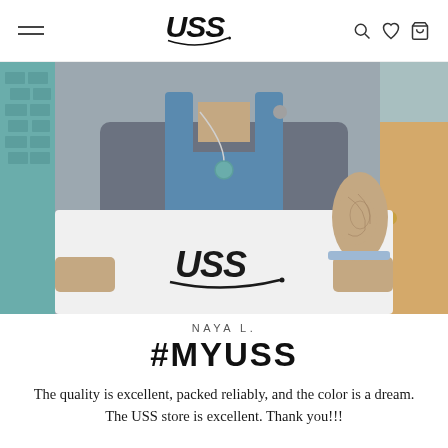USS (logo) — navigation header with hamburger menu and icons
[Figure (photo): Person wearing denim overalls and grey t-shirt, holding a large white USS-branded box. They are standing in front of a teal brick wall. The person has tattoos on their right arm and wears a necklace.]
NAYA L.
#MYUSS
The quality is excellent, packed reliably, and the color is a dream. The USS store is excellent. Thank you!!!